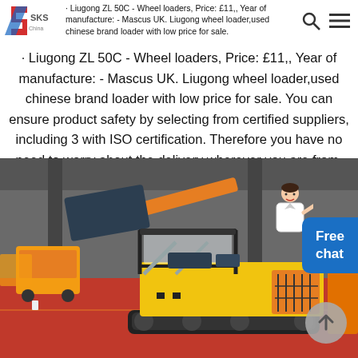SKS logo with search and hamburger menu icons
· Liugong ZL 50C - Wheel loaders, Price: £11,, Year of manufacture: - Mascus UK. Liugong wheel loader,used chinese brand loader with low price for sale. You can ensure product safety by selecting from certified suppliers, including 3 with ISO certification. Therefore you have no need to worry about the delivery wherever you are from.
[Figure (photo): Yellow mini track loader / crawler dumper machine parked in an industrial warehouse with red floor. Multiple similar yellow machines visible in background.]